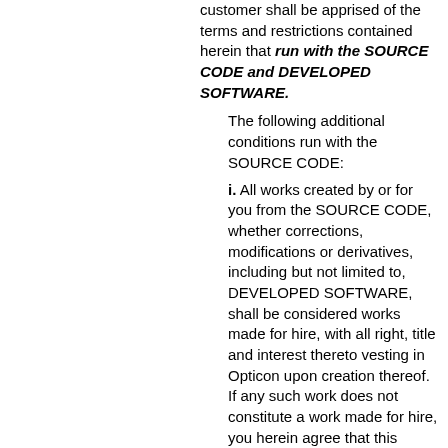customer shall be apprised of the terms and restrictions contained herein that run with the SOURCE CODE and DEVELOPED SOFTWARE.
The following additional conditions run with the SOURCE CODE:
i. All works created by or for you from the SOURCE CODE, whether corrections, modifications or derivatives, including but not limited to, DEVELOPED SOFTWARE, shall be considered works made for hire, with all right, title and interest thereto vesting in Opticon upon creation thereof. If any such work does not constitute a work made for hire, you herein agree that this Agreement is an irrevocable sale, assignment and transfer to Opticon all right.